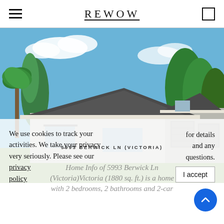REWOW
[Figure (photo): Exterior rendering of a single-story Florida-style home with dark tile roof, palm trees, and blue sky with clouds. Two garage doors visible on the right side.]
5993 BERWICK LN (VICTORIA)
Home Info of 5993 Berwick Ln (Victoria)Victoria (1880 sq. ft.) is a home with 2 bedrooms, 2 bathrooms and 2-car
We use cookies to track your activities. We take your privacy very seriously. Please see our privacy policy for details and any questions. I accept